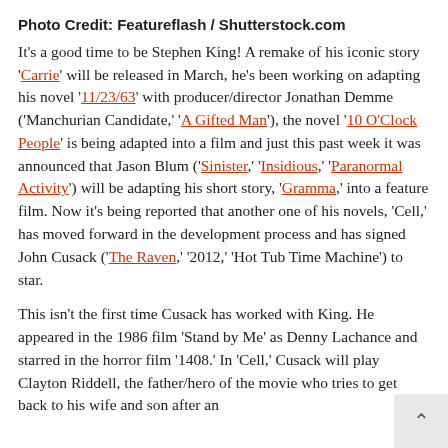Photo Credit: Featureflash / Shutterstock.com
It's a good time to be Stephen King! A remake of his iconic story 'Carrie' will be released in March, he's been working on adapting his novel '11/23/63' with producer/director Jonathan Demme ('Manchurian Candidate,' 'A Gifted Man'), the novel '10 O'Clock People' is being adapted into a film and just this past week it was announced that Jason Blum ('Sinister,' 'Insidious,' 'Paranormal Activity') will be adapting his short story, 'Gramma,' into a feature film. Now it's being reported that another one of his novels, 'Cell,' has moved forward in the development process and has signed John Cusack ('The Raven,' '2012,' 'Hot Tub Time Machine') to star.
This isn't the first time Cusack has worked with King. He appeared in the 1986 film 'Stand by Me' as Denny Lachance and starred in the horror film '1408.' In 'Cell,' Cusack will play Clayton Riddell, the father/hero of the movie who tries to get back to his wife and son after an